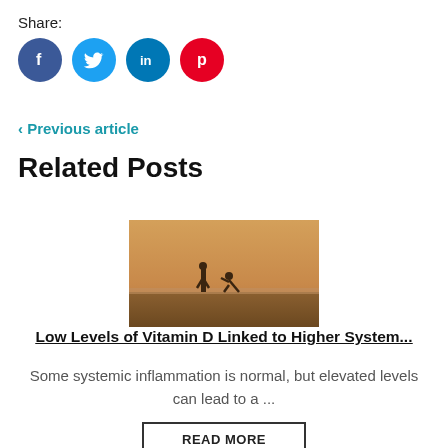Share:
[Figure (infographic): Social media share buttons: Facebook (blue circle with f), Twitter (light blue circle with bird), LinkedIn (teal circle with in), Pinterest (red circle with P)]
< Previous article
Related Posts
[Figure (photo): Two people on a beach at sunset/dusk with an orange hazy sky]
Low Levels of Vitamin D Linked to Higher System...
Some systemic inflammation is normal, but elevated levels can lead to a ...
READ MORE